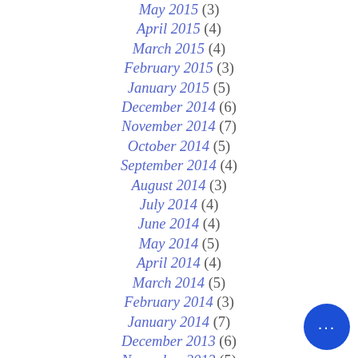May 2015 (3)
April 2015 (4)
March 2015 (4)
February 2015 (3)
January 2015 (5)
December 2014 (6)
November 2014 (7)
October 2014 (5)
September 2014 (4)
August 2014 (3)
July 2014 (4)
June 2014 (4)
May 2014 (5)
April 2014 (4)
March 2014 (5)
February 2014 (3)
January 2014 (7)
December 2013 (6)
November 2013 (5)
October 2013 (5)
September 2013 (9)
August 2013 (9)